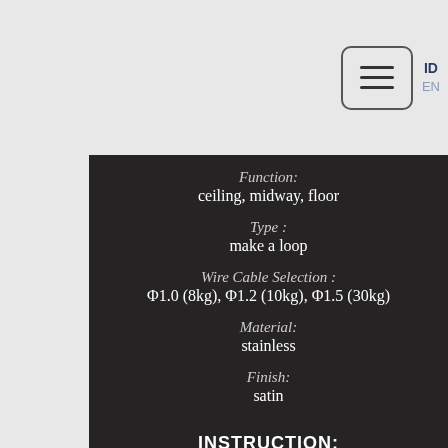[Figure (other): Navigation menu button with hamburger icon and language selector showing ID and EN]
Function:
ceiling, midway, floor
Type :
make a loop
Wire Cable Selection :
Φ1.0 (8kg), Φ1.2 (10kg), Φ1.5 (30kg)
Material:
stainless
Finish:
satin
INSTRUCTION:
- Do install grippers or rails into structural framework, or use anchors as appropriate.
- Make sure the gripper is correctly aligned. Ceiling-